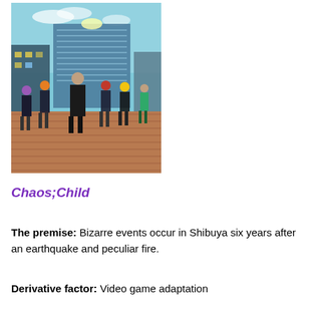[Figure (illustration): Anime promotional artwork for Chaos;Child showing several anime characters standing in front of a large building in Shibuya, Japan. Characters are dressed in school uniforms and various outfits against a cityscape background with a clear blue sky.]
Chaos;Child
The premise: Bizarre events occur in Shibuya six years after an earthquake and peculiar fire.
Derivative factor: Video game adaptation